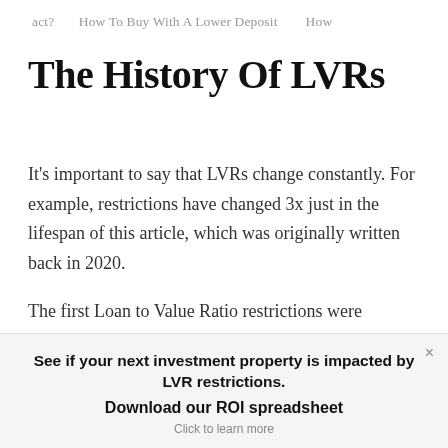act?   How To Buy With A Lower Deposit   How
The History Of LVRs
It's important to say that LVRs change constantly. For example, restrictions have changed 3x just in the lifespan of this article, which was originally written back in 2020.
The first Loan to Value Ratio restrictions were
See if your next investment property is impacted by LVR restrictions.
Download our ROI spreadsheet
Click to learn more